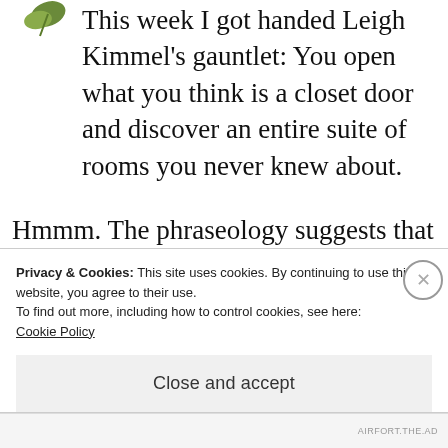[Figure (illustration): Partial plant/leaf logo icon in top left corner]
This week I got handed Leigh Kimmel's gauntlet: You open what you think is a closet door and discover an entire suite of rooms you never knew about.
Hmmm. The phraseology suggests that the protagonist knows the house well enough to be surprised at the discovery.
Privacy & Cookies: This site uses cookies. By continuing to use this website, you agree to their use.
To find out more, including how to control cookies, see here:
Cookie Policy
Close and accept
AIRFORT.THE.AD